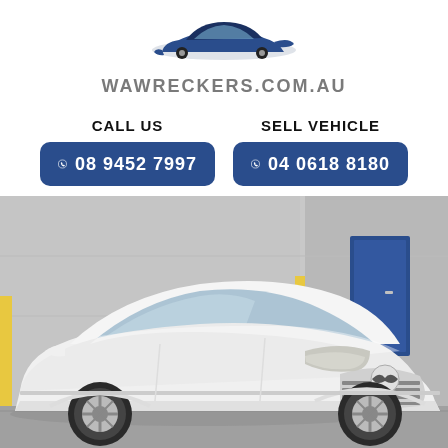[Figure (logo): WA Wreckers logo: stylized car silhouette in dark blue and grey above the text WAWRECKERS.COM.AU]
CALL US
SELL VEHICLE
08 9452 7997
04 0618 8180
[Figure (photo): Photo of a white Mazda CX-9 SUV parked in front of a grey industrial building with a blue door, viewed from front-left angle]